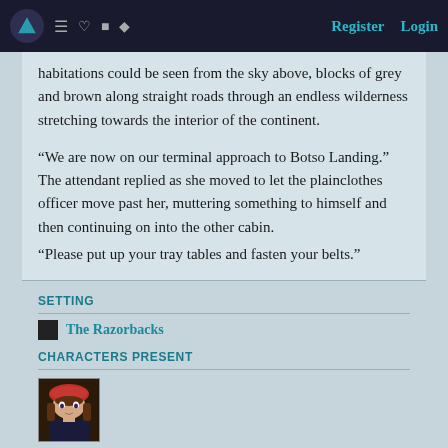Register  Login
habitations could be seen from the sky above, blocks of grey and brown along straight roads through an endless wilderness stretching towards the interior of the continent.

“We are now on our terminal approach to Botso Landing.” The attendant replied as she moved to let the plainclothes officer move past her, muttering something to himself and then continuing on into the other cabin.
“Please put up your tray tables and fasten your belts.”
SETTING
The Razorbacks
CHARACTERS PRESENT
[Figure (illustration): Anime-style character avatar: girl with red beret and brown hair]
Tag Characters »
Add to Arc »
0.00 INK